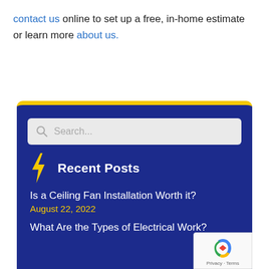contact us online to set up a free, in-home estimate or learn more about us.
Recent Posts
Is a Ceiling Fan Installation Worth it? — August 22, 2022
What Are the Types of Electrical Work?